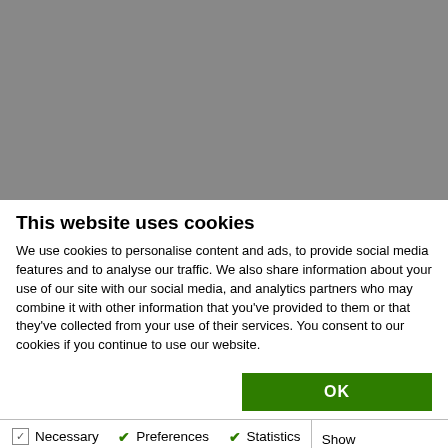[Figure (other): Gray blurred background image area]
This website uses cookies
We use cookies to personalise content and ads, to provide social media features and to analyse our traffic. We also share information about your use of our site with our social media, and analytics partners who may combine it with other information that you've provided to them or that they've collected from your use of their services. You consent to our cookies if you continue to use our website.